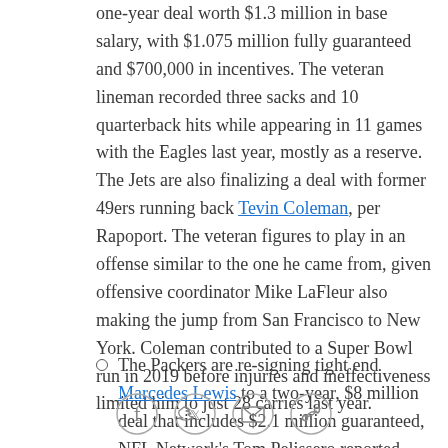one-year deal worth $1.3 million in base salary, with $1.075 million fully guaranteed and $700,000 in incentives. The veteran lineman recorded three sacks and 10 quarterback hits while appearing in 11 games with the Eagles last year, mostly as a reserve. The Jets are also finalizing a deal with former 49ers running back Tevin Coleman, per Rapoport. The veteran figures to play in an offense similar to the one he came from, given offensive coordinator Mike LaFleur also making the jump from San Francisco to New York. Coleman contributed to a Super Bowl run in 2019 before injuries and ineffectiveness limited him to just 28 carries last year.
The Packers are re-signing tight end Marcedes Lewis to a two-year, $8 million deal that includes $2.1 million guaranteed, NFL Network's Tom Pelissero reported. Lewis, who's spent the past three years in
[Figure (other): Social share icons: Facebook, Twitter, Email, Link]